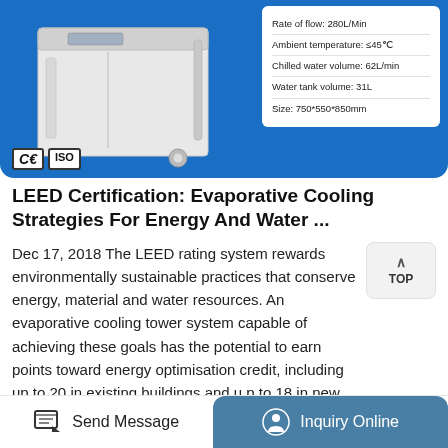[Figure (photo): Industrial chilled water cooling unit on wheels shown on blue background with CE and ISO certification badges. White cabinet with control panel on top.]
Rate of flow: 280L/Min
Ambient temperature: ≤45℃
Chilled water volume: 62L/min
Water tank volume: 31L
Size: 750*550*850mm
LEED Certification: Evaporative Cooling Strategies For Energy And Water ...
Dec 17, 2018 The LEED rating system rewards environmentally sustainable practices that conserve energy, material and water resources. An evaporative cooling tower system capable of achieving these goals has the potential to earn points toward energy optimisation credit, including up to 20 in existing buildings and u p to 18 in new buildings.
Send Message
Inquiry Online